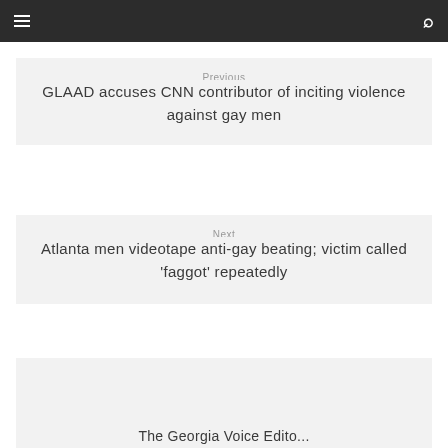≡  [search icon]
Previous
GLAAD accuses CNN contributor of inciting violence against gay men
Next
Atlanta men videotape anti-gay beating; victim called 'faggot' repeatedly
The Georgia Voice Edito...